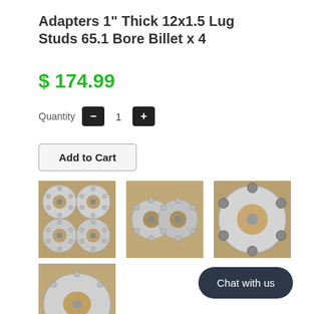Adapters 1" Thick 12x1.5 Lug Studs 65.1 Bore Billet x 4
$ 174.99
Quantity  -  1  +
Add to Cart
[Figure (photo): Four silver aluminum wheel spacer adapters arranged in a 2x2 grid on a wooden surface, showing lug studs and bolt pattern]
[Figure (photo): Two wheel spacer adapters face-to-face showing lug studs detail, on a wooden surface]
[Figure (photo): Single wheel spacer adapter from top view showing bore hole and bolt holes, on wooden surface]
[Figure (photo): Single wheel spacer adapter angled view showing bore hole and lug studs]
Chat with us